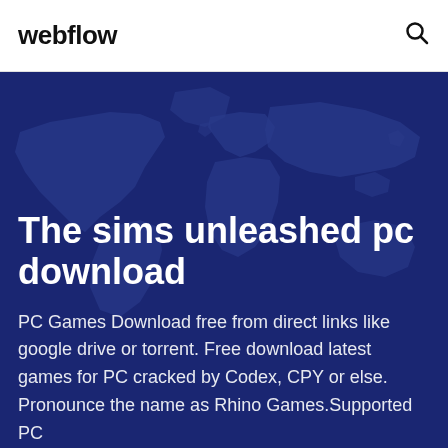webflow
The sims unleashed pc download
PC Games Download free from direct links like google drive or torrent. Free download latest games for PC cracked by Codex, CPY or else. Pronounce the name as Rhino Games.Supported PC